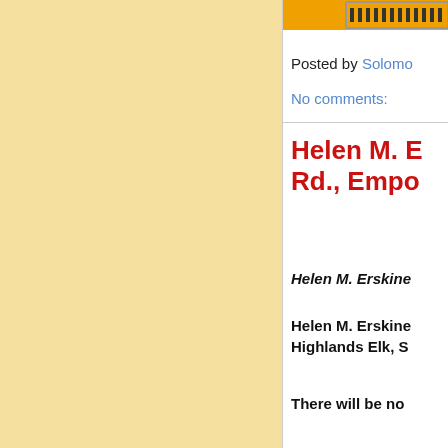[Figure (other): Decorative image or logo with dotted/checkered pattern on orange background at top right]
Posted by Solomo
No comments:
Helen M. E... Rd., Empo...
Helen M. Erskine
Helen M. Erskine... Highlands Elk, S
There will be no